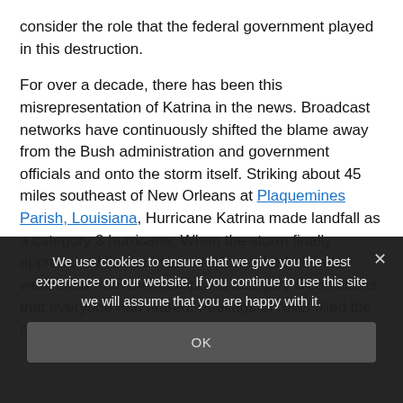consider the role that the federal government played in this destruction.
For over a decade, there has been this misrepresentation of Katrina in the news. Broadcast networks have continuously shifted the blame away from the Bush administration and government officials and onto the storm itself. Striking about 45 miles southeast of New Orleans at Plaquemines Parish, Louisiana, Hurricane Katrina made landfall as a category 3 hurricane. When the storm finally approached the Louisiana region, it had already weakened from the anticipated category 5 conditions that everyone had feared. Feelings of relief filled the city when the storm initially
We use cookies to ensure that we give you the best experience on our website. If you continue to use this site we will assume that you are happy with it.
OK